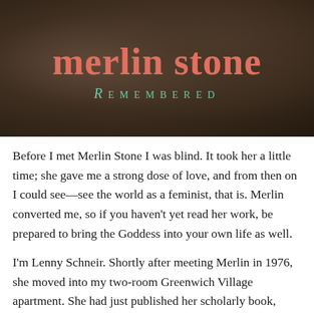[Figure (illustration): Book cover image with dark brownish background and a blurred figure, displaying the title 'merlin stone' in large coral/salmon colored text and 'REMEMBERED' in teal small-caps text below]
Before I met Merlin Stone I was blind. It took her a little time; she gave me a strong dose of love, and from then on I could see—see the world as a feminist, that is. Merlin converted me, so if you haven't yet read her work, be prepared to bring the Goddess into your own life as well.
I'm Lenny Schneir. Shortly after meeting Merlin in 1976, she moved into my two-room Greenwich Village apartment. She had just published her scholarly book, When God Was a Woman, which documented 8,000 years of Goddess history in pre-patriarchal religions. Her devotion to Goddess